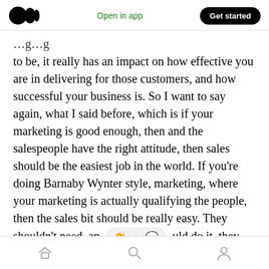Medium logo | Open in app | Get started
to be, it really has an impact on how effective you are in delivering for those customers, and how successful your business is. So I want to say again, what I said before, which is if your marketing is good enough, then and the salespeople have the right attitude, then sales should be the easiest job in the world. If you're doing Barnaby Wynter style, marketing, where your marketing is actually qualifying the people, then the sales bit should be really easy. They shouldn't need, an [clap/comment icons] uld do it, they shouldn't need a book.
Home | Search | Profile